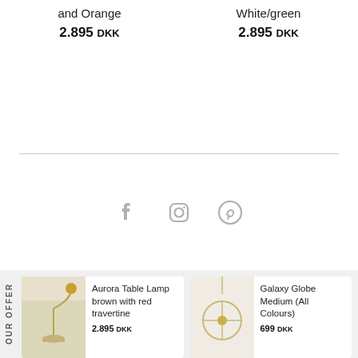and Orange
White/green
2.895 DKK
2.895 DKK
[Figure (other): Social media icons: Facebook, Instagram, Pinterest in gray]
[Figure (photo): Aurora Table Lamp brown with red travertine product photo]
Aurora Table Lamp brown with red travertine
2.895 DKK
[Figure (photo): Galaxy Globe Medium (All Colours) product photo]
Galaxy Globe Medium (All Colours)
699 DKK